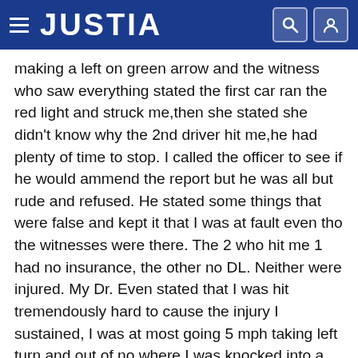JUSTIA
making a left on green arrow and the witness who saw everything stated the first car ran the red light and struck me,then she stated she didn't know why the 2nd driver hit me,he had plenty of time to stop. I called the officer to see if he would ammend the report but he was all but rude and refused. He stated some things that were false and kept it that I was at fault even tho the witnesses were there. The 2 who hit me 1 had no insurance, the other no DL. Neither were injured. My Dr. Even stated that I was hit tremendously hard to cause the injury I sustained, I was at most going 5 mph taking left turn and out of no where I was knocked into a 360. I want truth!
Related Topics: